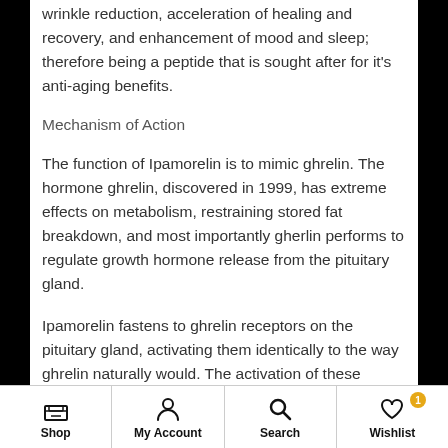wrinkle reduction, acceleration of healing and recovery, and enhancement of mood and sleep; therefore being a peptide that is sought after for it's anti-aging benefits.
Mechanism of Action
The function of Ipamorelin is to mimic ghrelin. The hormone ghrelin, discovered in 1999, has extreme effects on metabolism, restraining stored fat breakdown, and most importantly gherlin performs to regulate growth hormone release from the pituitary gland.
Ipamorelin fastens to ghrelin receptors on the pituitary gland, activating them identically to the way ghrelin naturally would. The activation of these receptors work
Shop | My Account | Search | Wishlist